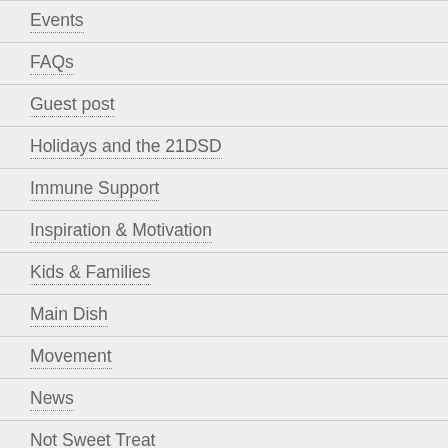Events
FAQs
Guest post
Holidays and the 21DSD
Immune Support
Inspiration & Motivation
Kids & Families
Main Dish
Movement
News
Not Sweet Treat